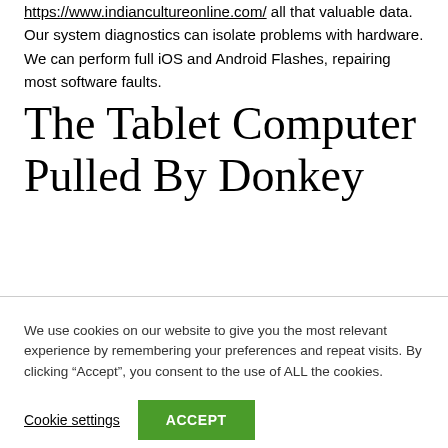https://www.indiancultureonline.com/ all that valuable data. Our system diagnostics can isolate problems with hardware. We can perform full iOS and Android Flashes, repairing most software faults.
The Tablet Computer Pulled By Donkey
We use cookies on our website to give you the most relevant experience by remembering your preferences and repeat visits. By clicking “Accept”, you consent to the use of ALL the cookies.
Cookie settings   ACCEPT